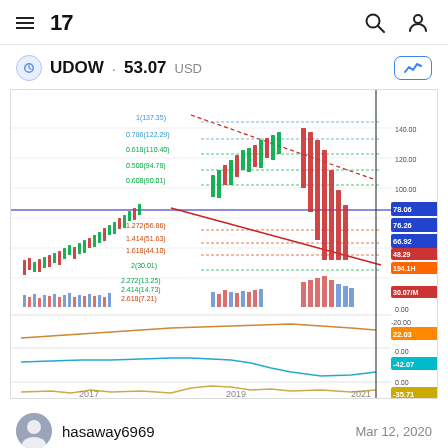TradingView header with menu, logo, search and profile icons
UDOW · 53.07 USD
[Figure (continuous-plot): TradingView chart of UDOW (ProShares UltraPro Dow30) showing candlestick price data from approximately 2015 to 2021 with Fibonacci retracement levels labeled: 1(137.35), 0.786(122.29), 0.618(110.40), 0.500(94.78), 0.608(90.01), 1.272(56.86), 1.414(51.63), 1.618(44.10), 2(30.01), 2.272(13.25), 2.414(14.73), 2.618(7.21). Right side price labels: 78.06, 76.26, 66.92, 48.29, 194.1H, 30.07/M, 0.00, -20.00, 22.03, 0.00, -42.07, 0.00, -35.71. Volume bars shown in red and blue. Three indicator panels below main chart showing orange, cyan/blue, and yellow oscillator lines. A red diagonal trendline, blue horizontal line, and red dotted diagonal line are visible. X-axis shows years 2017, 2019, 2021.]
hasaway6969
Mar 12, 2020